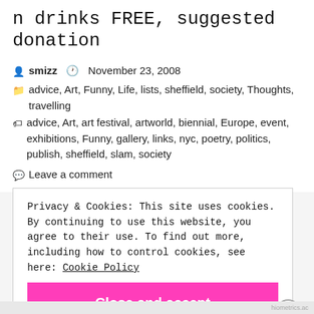n drinks FREE, suggested donation
smizz   November 23, 2008
advice, Art, Funny, Life, lists, sheffield, society, Thoughts, travelling
advice, Art, art festival, artworld, biennial, Europe, event, exhibitions, Funny, gallery, links, nyc, poetry, politics, publish, sheffield, slam, society
Leave a comment
Privacy & Cookies: This site uses cookies. By continuing to use this website, you agree to their use. To find out more, including how to control cookies, see here: Cookie Policy
Close and accept